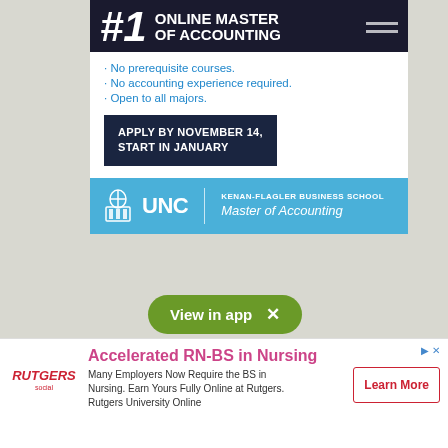[Figure (screenshot): UNC Kenan-Flagler Business School advertisement for #1 Online Master of Accounting program. Features dark navy header with '#1 ONLINE MASTER OF ACCOUNTING', white section with bullet points: No prerequisite courses, No accounting experience required, Open to all majors, and a dark button 'APPLY BY NOVEMBER 14, START IN JANUARY'. Blue footer with UNC logo and 'KENAN-FLAGLER BUSINESS SCHOOL Master of Accounting'.]
View in app  X
Answer in Brief
Chart
Go Through the blog given in the text and also to different blogs on the internet about
[Figure (screenshot): Rutgers advertisement for Accelerated RN-BS in Nursing program. Text: 'Many Employers Now Require the BS in Nursing. Earn Yours Fully Online at Rutgers. Rutgers University Online'. Learn More button on right.]